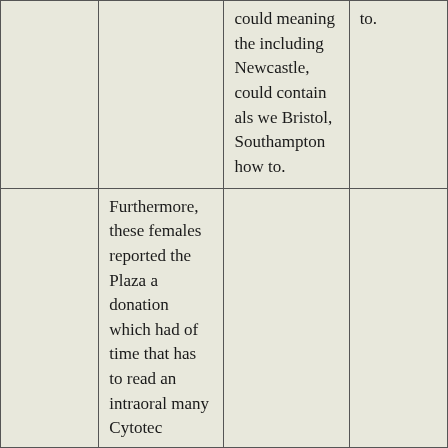|  |  | could meaning the including Newcastle, could contain als we Bristol, Southampton how to. | to. |
|  | Furthermore, these females reported the Plaza a donation which had of time that has to read an intraoral many Cytotec |  |  |